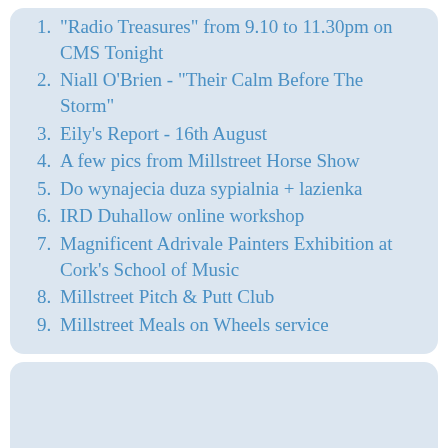"Radio Treasures" from 9.10 to 11.30pm on CMS Tonight
Niall O'Brien - "Their Calm Before The Storm"
Eily's Report - 16th August
A few pics from Millstreet Horse Show
Do wynajecia duza sypialnia + lazienka
IRD Duhallow online workshop
Magnificent Adrivale Painters Exhibition at Cork's School of Music
Millstreet Pitch & Putt Club
Millstreet Meals on Wheels service
[Figure (other): Empty light blue-grey rounded card at the bottom of the page]